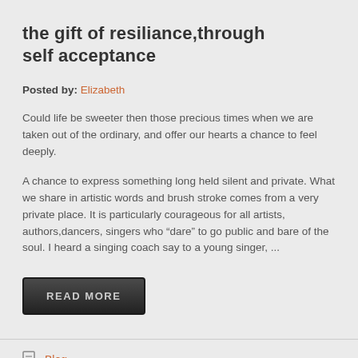the gift of resiliance,through self acceptance
Posted by: Elizabeth
Could life be sweeter then those precious times when we are taken out of the ordinary, and offer our hearts a chance to feel deeply.
A chance to express something long held silent and private. What we share in artistic words and brush stroke comes from a very private place. It is particularly courageous for all artists, authors,dancers, singers who “dare” to go public and bare of the soul. I heard a singing coach say to a young singer, ...
READ MORE
Blog